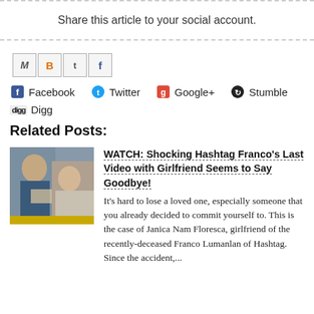Share this article to your social account.
[Figure (screenshot): Social sharing icons row: Gmail (M), Blogger (B), Twitter (t), Facebook (f)]
Facebook
Twitter
Google+
Stumble
Digg
Related Posts:
[Figure (photo): Thumbnail photo of a couple, with a yellow bar at the bottom]
WATCH: Shocking Hashtag Franco's Last Video with Girlfriend Seems to Say Goodbye!
It's hard to lose a loved one, especially someone that you already decided to commit yourself to. This is the case of Janica Nam Floresca, girlfriend of the recently-deceased Franco Lumanlan of Hashtag. Since the accident,...